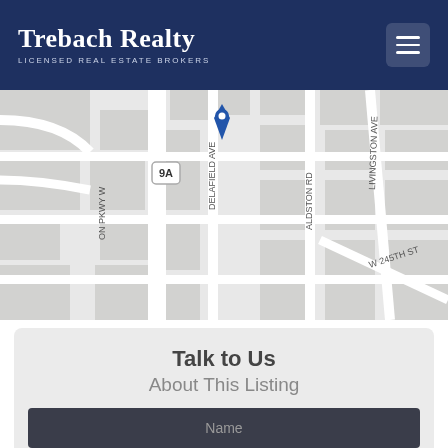Trebach Realty — LICENSED REAL ESTATE BROKERS
[Figure (map): Street map showing Delafield Ave, Livingston Ave, W 245th St, Aldston Rd, and Henry Hudson Pkwy W (route 9A), with a blue location pin marker near Delafield Ave.]
Talk to Us
About This Listing
Name
Phone Number